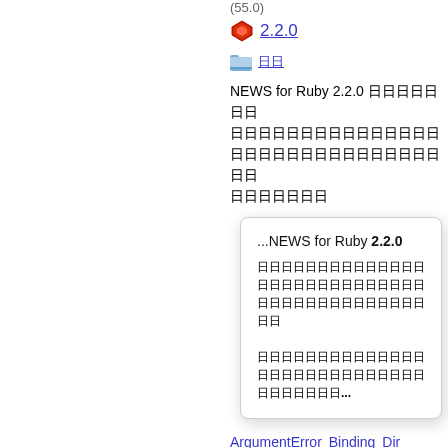(55.0)
2.2.0
日日
NEWS for Ruby 2.2.0 日日日日日日日 日日日日日日日日日日日日日日日日日日日日日日日日日日日日日日日日日日
[Figure (screenshot): Tooltip/popup box showing '...NEWS for Ruby 2.2.0' with Japanese text body ending in '...']
ArgumentError Binding Dir Enumerable Enumerator Fiber File File::Stat Float GC